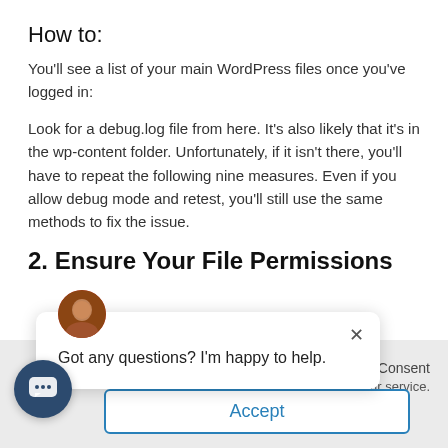How to:
You'll see a list of your main WordPress files once you've logged in:
Look for a debug.log file from here. It's also likely that it's in the wp-content folder. Unfortunately, if it isn't there, you'll have to repeat the following nine measures. Even if you allow debug mode and retest, you'll still use the same methods to fix the issue.
2. Ensure Your File Permissions
[Figure (screenshot): Chat popup overlay with avatar photo, close button (×), and text 'Got any questions? I'm happy to help.']
Consent
nd our service.
Accept